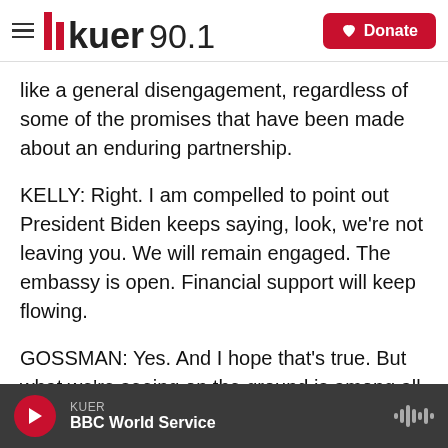KUER 90.1 — Donate
like a general disengagement, regardless of some of the promises that have been made about an enduring partnership.
KELLY: Right. I am compelled to point out President Biden keeps saying, look, we're not leaving you. We will remain engaged. The embassy is open. Financial support will keep flowing.
GOSSMAN: Yes. And I hope that's true. But what we're seeing on the ground is among all embassies, including the U.S., is a downsizing.
KUER — BBC World Service